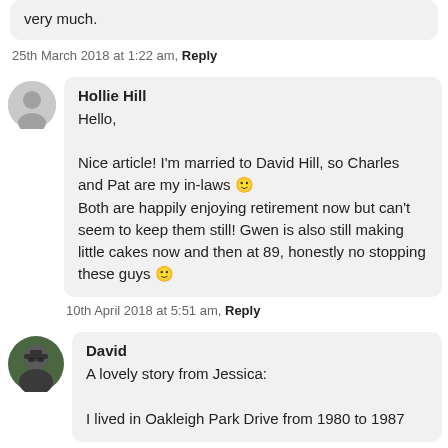very much.
25th March 2018 at 1:22 am, Reply
Hollie Hill
Hello,

Nice article! I'm married to David Hill, so Charles and Pat are my in-laws 🙂
Both are happily enjoying retirement now but can't seem to keep them still! Gwen is also still making little cakes now and then at 89, honestly no stopping these guys 🙂
10th April 2018 at 5:51 am, Reply
David
A lovely story from Jessica:

I lived in Oakleigh Park Drive from 1980 to 1987